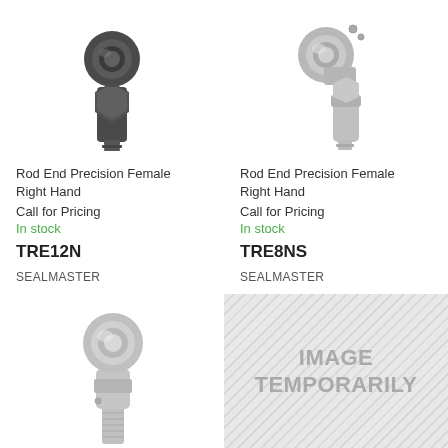[Figure (photo): Rod end precision female right hand bearing, dark metallic finish, TRE12N by Sealmaster]
Rod End Precision Female Right Hand
Call for Pricing
In stock
TRE12N
SEALMASTER
[Figure (photo): Rod end precision female right hand bearing, silver/chrome metallic finish, TRE8NS by Sealmaster]
Rod End Precision Female Right Hand
Call for Pricing
In stock
TRE8NS
SEALMASTER
[Figure (photo): Rod end precision female bearing, silver/chrome finish, small size, threaded male end visible]
[Figure (other): Image temporarily unavailable placeholder with diagonal stripe pattern]